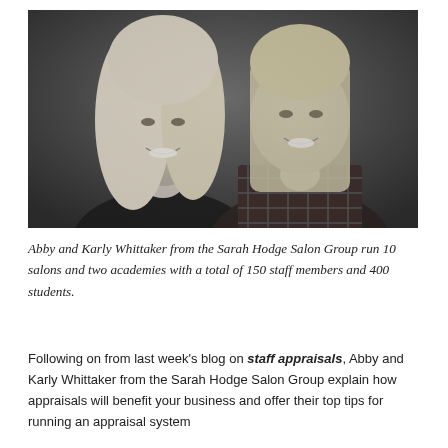[Figure (photo): Black and white portrait photo of two blonde women smiling, Abby and Karly Whittaker, against a dark background.]
Abby and Karly Whittaker from the Sarah Hodge Salon Group run 10 salons and two academies with a total of 150 staff members and 400 students.
Following on from last week's blog on staff appraisals, Abby and Karly Whittaker from the Sarah Hodge Salon Group explain how appraisals will benefit your business and offer their top tips for running an appraisal system